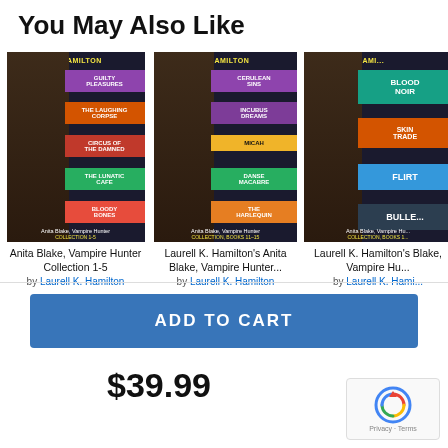You May Also Like
[Figure (illustration): Book cover: Anita Blake Vampire Hunter Collection 1-5 by Laurell K. Hamilton. Dark background with colorful horizontal title strips: Guilty Pleasures (purple), The Laughing Corpse (orange), Circus of the Damned (red), The Lunatic Cafe (green), Bloody Bones (red).]
Anita Blake, Vampire Hunter Collection 1-5
by Laurell K. Hamilton
[Figure (illustration): Book cover: Laurell K. Hamilton's Anita Blake Vampire Hunter Collection Books 11-15. Dark background with colorful strips: Cerulean Sins (purple), Incubus Dreams (purple), Micah (yellow), Danse Macabre (green), The Harlequin (orange).]
Laurell K. Hamilton's Anita Blake, Vampire Hunter...
by Laurell K. Hamilton
[Figure (illustration): Book cover: Laurell K. Hamilton's Anita Blake Vampire Hunter Collection Books 10-something. Dark background with colorful strips: Blood Noir (teal), Skin Trade (orange), Flirt (blue), Bullet (dark).]
Laurell K. Hamilton's Blake, Vampire Hu...
by Laurell K. Hami...
ADD TO CART
$39.99